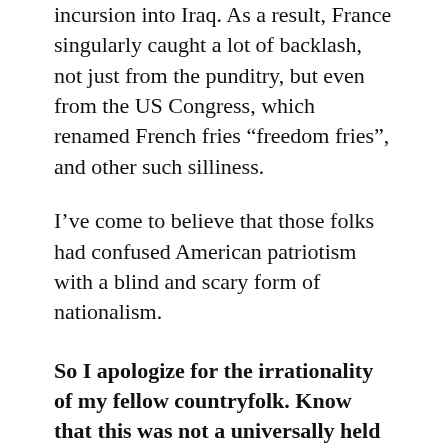incursion into Iraq. As a result, France singularly caught a lot of backlash, not just from the punditry, but even from the US Congress, which renamed French fries “freedom fries”, and other such silliness.
I’ve come to believe that those folks had confused American patriotism with a blind and scary form of nationalism.
So I apologize for the irrationality of my fellow countryfolk. Know that this was not a universally held antipathy. In fact, when I was at a massive antiwar rally in New York City on February 15, 2003, about a month before the war began, there were folks from France who